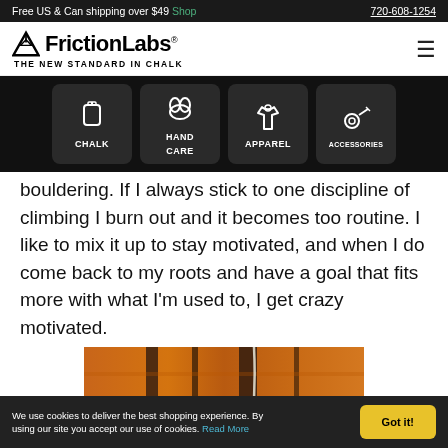Free US & Can shipping over $49 Shop | 720-608-1254
[Figure (logo): FrictionLabs logo with mountain icon and tagline THE NEW STANDARD IN CHALK]
[Figure (infographic): Navigation bar with four icons: Chalk, Hand Care, Apparel, Accessories on dark background]
bouldering. If I always stick to one discipline of climbing I burn out and it becomes too routine. I like to mix it up to stay motivated, and when I do come back to my roots and have a goal that fits more with what I'm used to, I get crazy motivated.
[Figure (photo): Close-up photo of red/orange rock face with vertical crack lines, a climbing rope visible]
We use cookies to deliver the best shopping experience. By using our site you accept our use of cookies. Read More